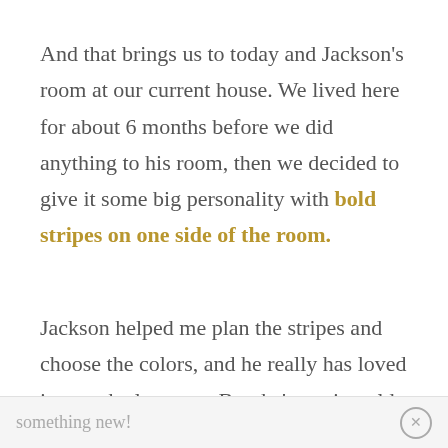And that brings us to today and Jackson's room at our current house. We lived here for about 6 months before we did anything to his room, then we decided to give it some big personality with bold stripes on one side of the room.
Jackson helped me plan the stripes and choose the colors, and he really has loved it over the last year. But, he's getting older and his tastes are changing, so he's ready for something new!